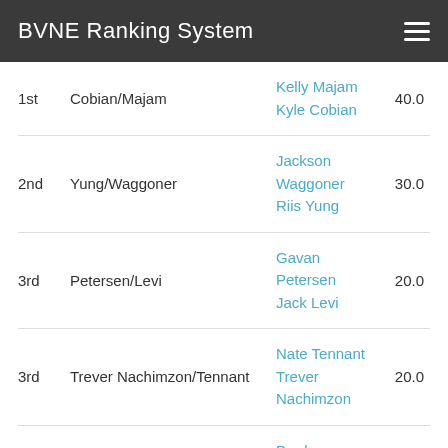BVNE Ranking System
| Rank | Team | Players | Points |
| --- | --- | --- | --- |
| 1st | Cobian/Majam | Kelly Majam
Kyle Cobian | 40.0 |
| 2nd | Yung/Waggoner | Jackson Waggoner
Riis Yung | 30.0 |
| 3rd | Petersen/Levi | Gavan Petersen
Jack Levi | 20.0 |
| 3rd | Trever Nachimzon/Tennant | Nate Tennant
Trever Nachimzon | 20.0 |
| 5th | Bullock/Bazerkanian | Braden Bullock
Mikos Bazerkanian | 0.0 |
| 5th | McDonnell/Grieder | Benny Grieder
Matt Mcdonnell | 0.0 |
Girls Club & HS D4
| Rank | Team | Players | Points |
| --- | --- | --- | --- |
| 1st | Barbar/Rojelio | Autumn Rojelio
... | 33.0 |